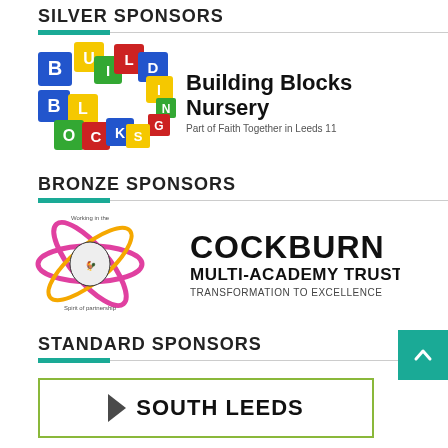SILVER SPONSORS
[Figure (logo): Building Blocks Nursery logo with colorful alphabet blocks and text 'Building Blocks Nursery - Part of Faith Together in Leeds 11']
BRONZE SPONSORS
[Figure (logo): Cockburn Multi-Academy Trust logo with rooster emblem and text 'COCKBURN MULTI-ACADEMY TRUST TRANSFORMATION TO EXCELLENCE']
STANDARD SPONSORS
[Figure (logo): South Leeds logo with arrow and bold text 'SOUTH LEEDS']